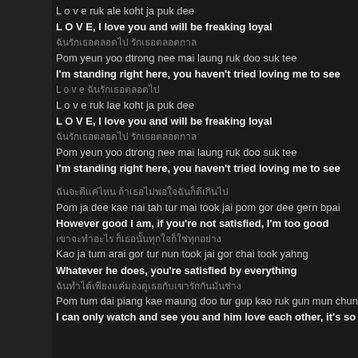L o v e ruk ale koht ja puk dee
L O V E, I love you and will be freaking loyal
ฉันรักเธอตลอดไป รักเธอตลอดกาล
Pom yeun yoo dtrong nee mai laung ruk doo suk tee
I'm standing right here, you haven't tried loving me to see
L o v e ฉันรักเธอตลอดไป
L o v e ruk lae koht ja puk dee
L O V E, I love you and will be freaking loyal
ฉันรักเธอตลอดไป รักเธอตลอดกาล
Pom yeun yoo dtrong nee mai laung ruk doo suk tee
I'm standing right here, you haven't tried loving me to see
ฉันจะดีแค่ไหน ถ้าเธอไม่พอใจฉันก็ดีเกินไป
Pom ja dee kae nai tah tur mai took jai pom gor dee gern bpai
However good I am, if you're not satisfied, I'm too good
เขาจะทำอะไร ก็เธอนั้นทุกใจก็ใช่ทุกอย่าง
Kao ja tum arai gor tur nun took jai gor chai took yahng
Whatever he does, you're satisfied by everything
ฉันทำได้เพียงแค่มองดูเธอกับเขารักกันมันช่าง
Pom tum dai piang kae maung doo tur gup kao ruk gun mun chun
I can only watch and see you and him love each other, it's so